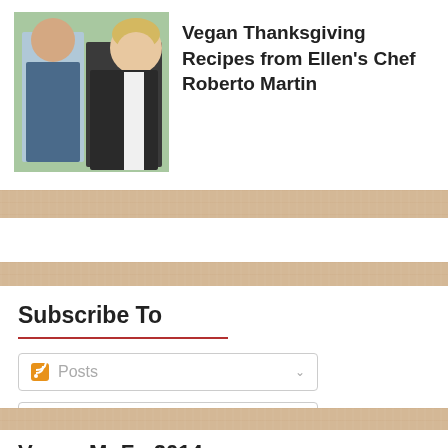[Figure (photo): Thumbnail photo of two people - a man and a woman with short blonde hair, appearing to be Ellen and Chef Roberto Martin]
Vegan Thanksgiving Recipes from Ellen's Chef Roberto Martin
[Figure (other): Blank white advertisement or content area]
Subscribe To
Posts
Comments
Vegan MoFo 2014